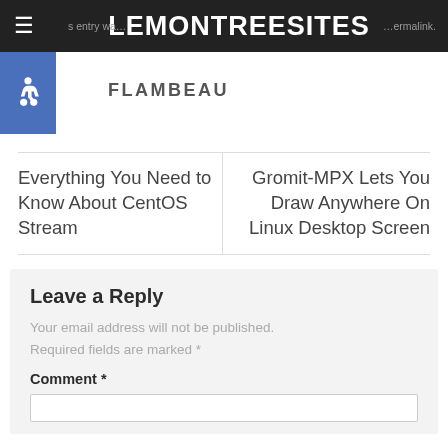LEMONTREESITES
[Figure (illustration): Blue accessibility wheelchair icon on dark blue square background]
FLAMBEAU
Everything You Need to Know About CentOS Stream
Gromit-MPX Lets You Draw Anywhere On Linux Desktop Screen
Leave a Reply
Your email address will not be published. Required fields are marked *
Comment *